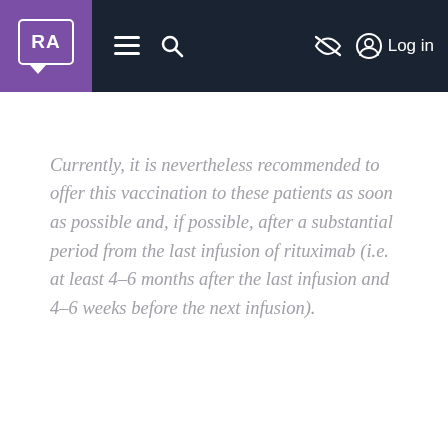RA [logo] navigation bar with menu, search, hide, and log in controls
Currently, it is nevertheless recommended to offer this vaccination to these patients as soon as possible and, if possible, after a substantial period from the last infusion of rituximab (i.e. at least 4–6 months after the last infusion and 4–6 weeks before the next infusion).